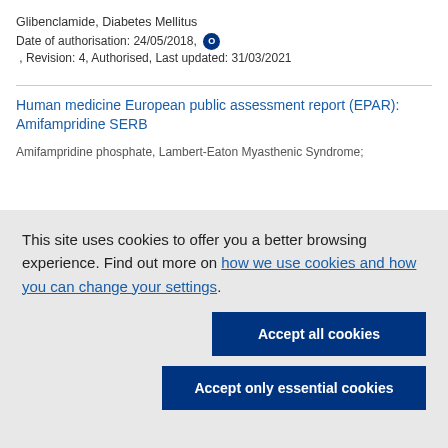Glibenclamide, Diabetes Mellitus
Date of authorisation: 24/05/2018, O , Revision: 4, Authorised, Last updated: 31/03/2021
Human medicine European public assessment report (EPAR): Amifampridine SERB
Amifampridine phosphate, Lambert-Eaton Myasthenic Syndrome;
This site uses cookies to offer you a better browsing experience. Find out more on how we use cookies and how you can change your settings.
Accept all cookies
Accept only essential cookies